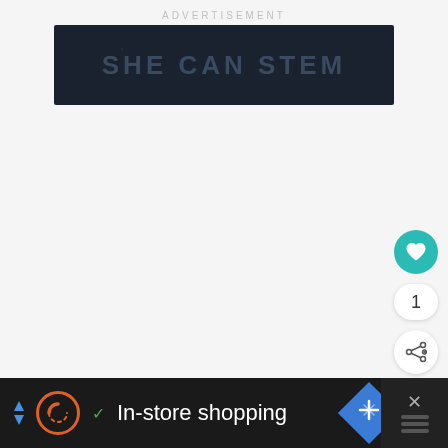ADVERTISEMENT
[Figure (illustration): Dark navy banner with text SHE CAN STEM in large bold letters]
[Figure (infographic): Floating UI elements: teal heart button, count bubble showing 1, white share button]
[Figure (infographic): What's Next card showing thumbnail and text: WHAT'S NEXT → Maramba River Lodge ...]
[Figure (screenshot): Bottom advertisement bar: arrows, circular logo, checkmark, In-store shopping text, blue diamond nav icon, close button with X]